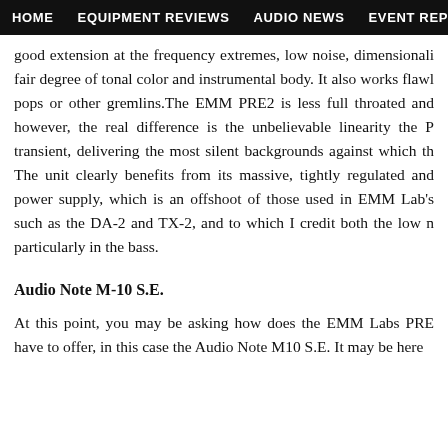HOME   EQUIPMENT REVIEWS   AUDIO NEWS   EVENT REPORTS   S
good extension at the frequency extremes, low noise, dimensionali fair degree of tonal color and instrumental body. It also works flawl pops or other gremlins.The EMM PRE2 is less full throated and however, the real difference is the unbelievable linearity the P transient, delivering the most silent backgrounds against which th The unit clearly benefits from its massive, tightly regulated and power supply, which is an offshoot of those used in EMM Lab's such as the DA-2 and TX-2, and to which I credit both the low n particularly in the bass.
Audio Note M-10 S.E.
At this point, you may be asking how does the EMM Labs PRE have to offer, in this case the Audio Note M10 S.E. It may be here